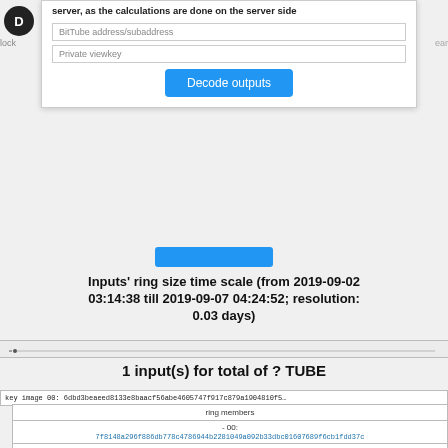server, as the calculations are done on the server side
BitTube address/subaddress
Private viewkey
Decode outputs
Inputs' ring size time scale (from 2019-09-02 03:14:38 till 2019-09-07 04:24:52; resolution: 0.03 days)
[Figure (continuous-plot): Inputs ring size time scale chart, x-axis showing date range 2019-09-02 to 2019-09-07]
1 input(s) for total of ? TUBE
key image 00: 6dbd3beaeed8133e8baacf56abe4605747f917c879a1904810f5...
| ring members |
| --- |
| - 00: |
| 7f8148a296f886db778c4786944b2281049a092b33dbc01607689f6cb1fdd37... |
| - 01: |
| a1a7075aa243c62e4ba3b04d7e656d3ca2b5d6f07791a789514cdb874d8047... |
- 00:
7f8148a296f886db778c4786944b2281049a092b33dbc01607689f6cb1fdd37c
- 01:
a1a7075aa243c62e4ba3b04d7e656d3ca2b5d6f07791a789514cdb874d8047c